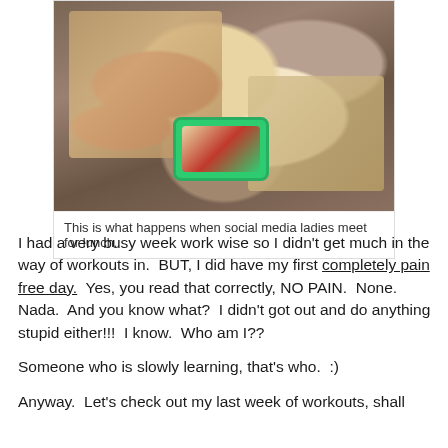[Figure (photo): Overhead view of people at a table with pizzas on wooden boards, one person holding a smartphone and photographing the food. Multiple hands visible, casual restaurant setting.]
This is what happens when social media ladies meet for lunch.
I had a very busy week work wise so I didn't get much in the way of workouts in.  BUT, I did have my first completely pain free day.  Yes, you read that correctly, NO PAIN.  None.  Nada.  And you know what?  I didn't got out and do anything stupid either!!!  I know.  Who am I??
Someone who is slowly learning, that's who.  :)
Anyway.  Let's check out my last week of workouts, shall